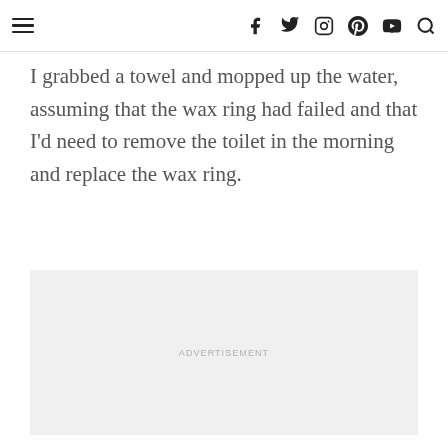≡ [navigation icons: facebook, twitter, instagram, pinterest, youtube, search]
I grabbed a towel and mopped up the water, assuming that the wax ring had failed and that I'd need to remove the toilet in the morning and replace the wax ring.
[Figure (other): Advertisement placeholder box with light gray background and centered text reading ADVERTISEMENT]